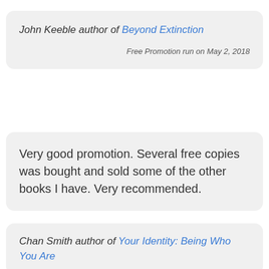John Keeble author of Beyond Extinction
Free Promotion run on May 2, 2018
Very good promotion. Several free copies was bought and sold some of the other books I have. Very recommended.
Chan Smith author of Your Identity: Being Who You Are